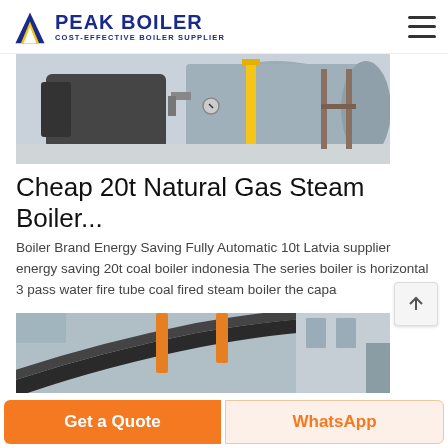PEAK BOILER - COST-EFFECTIVE BOILER SUPPLIER
[Figure (photo): Industrial gas steam boiler unit installed in a facility, showing cylindrical boiler body with burner and yellow safety post visible]
Cheap 20t Natural Gas Steam Boiler...
Boiler Brand Energy Saving Fully Automatic 10t Latvia supplier energy saving 20t coal boiler indonesia The series boiler is horizontal 3 pass water fire tube coal fired steam boiler the capa
[Figure (photo): Large industrial piping and equipment at a boiler facility, showing thick insulated pipes and industrial cranes in background]